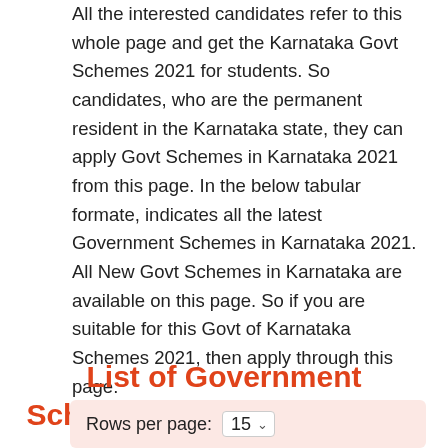All the interested candidates refer to this whole page and get the Karnataka Govt Schemes 2021 for students. So candidates, who are the permanent resident in the Karnataka state, they can apply Govt Schemes in Karnataka 2021 from this page. In the below tabular formate, indicates all the latest Government Schemes in Karnataka 2021. All New Govt Schemes in Karnataka are available on this page. So if you are suitable for this Govt of Karnataka Schemes 2021, then apply through this page.
List of Government Schemes in Karnataka 2021
Rows per page: 15